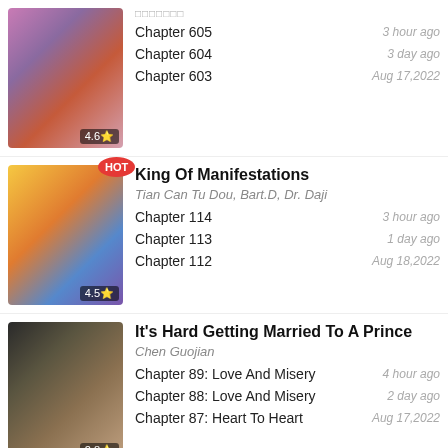[Figure (illustration): Manga cover 1 - colorful anime style illustration with rating badge 4.6]
□□□□□□□
Chapter 605 — 3 hour ago
Chapter 604 — 3 day ago
Chapter 603 — Aug 17,2022
[Figure (illustration): Manga cover 2 - King Of Manifestations anime style illustration with HOT badge and rating 4.5]
King Of Manifestations
Tian Can Tu Dou, Bart.D, Dr. Daji
Chapter 114 — 3 hour ago
Chapter 113 — 1 day ago
Chapter 112 — Aug 18,2022
[Figure (illustration): Manga cover 3 - It's Hard Getting Married To A Prince anime style illustration with rating 2.8]
It's Hard Getting Married To A Prince
Chen Guojian
Chapter 89: Love And Misery — 4 hour ago
Chapter 88: Love And Misery — 2 day ago
Chapter 87: Heart To Heart — Aug 17,2022